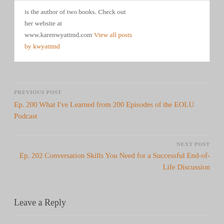is the author of two books. Check out her website at www.karenwyattmd.com View all posts by kwyattmd
PREVIOUS POST
Ep. 200 What I've Learned from 200 Episodes of the EOLU Podcast
NEXT POST
Ep. 202 Conversation Skills You Need for a Successful End-of-Life Discussion
Leave a Reply